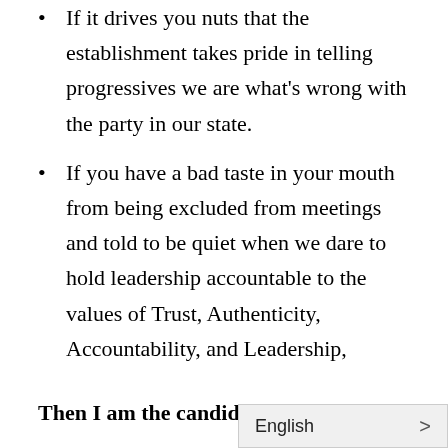If it drives you nuts that the establishment takes pride in telling progressives we are what's wrong with the party in our state.
If you have a bad taste in your mouth from being excluded from meetings and told to be quiet when we dare to hold leadership accountable to the values of Trust, Authenticity, Accountability, and Leadership,
Then I am the candidate for you.
I believe in truth, transparency, integrity, democracy, humility, and empathy. When we love our neighbors and refuse to play a dirty game for the sake